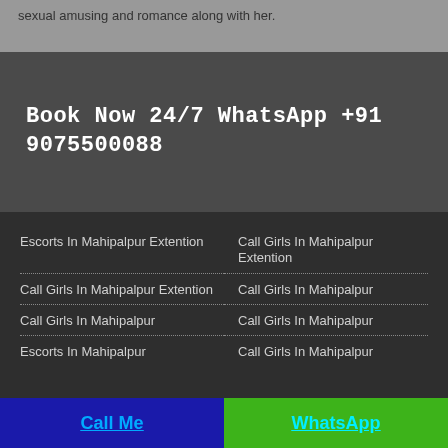sexual amusing and romance along with her.
Book Now 24/7 WhatsApp +91 9075500088
Escorts In Mahipalpur Extention
Call Girls In Mahipalpur Extention
Call Girls In Mahipalpur Extention
Call Girls In Mahipalpur
Call Girls In Mahipalpur
Call Girls In Mahipalpur
Escorts In Mahipalpur
Call Girls In Mahipalpur
Call Me | WhatsApp